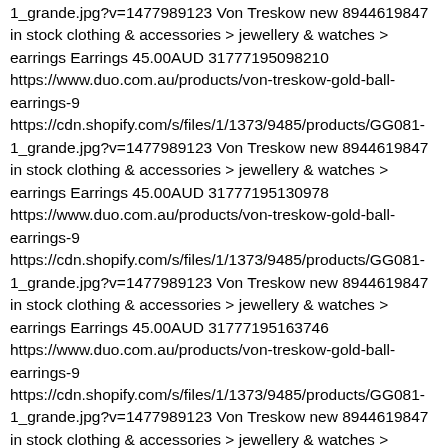1_grande.jpg?v=1477989123 Von Treskow new 8944619847 in stock clothing & accessories > jewellery & watches > earrings Earrings 45.00AUD 31777195098210 https://www.duo.com.au/products/von-treskow-gold-ball-earrings-9 https://cdn.shopify.com/s/files/1/1373/9485/products/GG081-1_grande.jpg?v=1477989123 Von Treskow new 8944619847 in stock clothing & accessories > jewellery & watches > earrings Earrings 45.00AUD 31777195130978 https://www.duo.com.au/products/von-treskow-gold-ball-earrings-9 https://cdn.shopify.com/s/files/1/1373/9485/products/GG081-1_grande.jpg?v=1477989123 Von Treskow new 8944619847 in stock clothing & accessories > jewellery & watches > earrings Earrings 45.00AUD 31777195163746 https://www.duo.com.au/products/von-treskow-gold-ball-earrings-9 https://cdn.shopify.com/s/files/1/1373/9485/products/GG081-1_grande.jpg?v=1477989123 Von Treskow new 8944619847 in stock clothing & accessories > jewellery & watches > earrings Earrings 45.00AUD 31777195196514 https://www.duo.com.au/products/von-treskow-gold-ball-earrings-9 https://cdn.shopify.com/s/files/1/1373/9485/products/GG081-1_grande.jpg?v=1477989123 Von Treskow new 8944619847 in stock clothing & accessories > jewellery & watches > earrings Earrings 45.00AUD 31777195229282 https://www.duo.com.au/products/von-treskow-gold-ball-earrings-9 https://cdn.shopify.com/s/files/1/1373/9485/products/GG081-